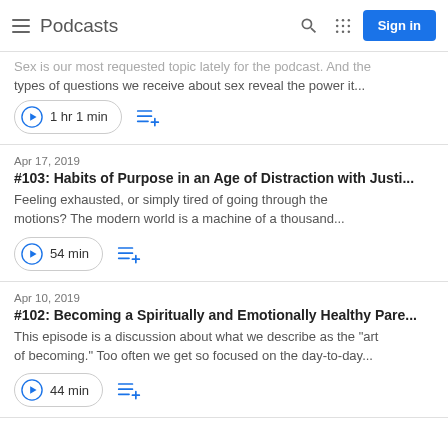Podcasts
Sex is our most requested topic lately for the podcast. And the types of questions we receive about sex reveal the power it...
1 hr 1 min
Apr 17, 2019
#103: Habits of Purpose in an Age of Distraction with Justi...
Feeling exhausted, or simply tired of going through the motions? The modern world is a machine of a thousand...
54 min
Apr 10, 2019
#102: Becoming a Spiritually and Emotionally Healthy Pare...
This episode is a discussion about what we describe as the "art of becoming." Too often we get so focused on the day-to-day...
44 min